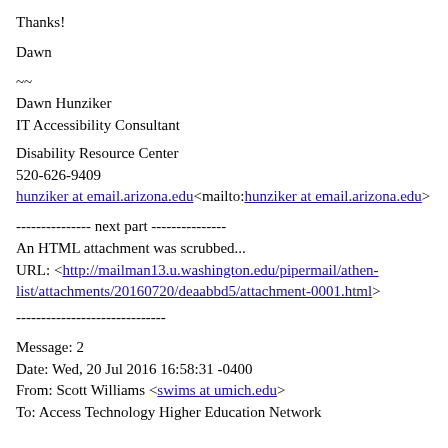Thanks!
Dawn
~~
Dawn Hunziker
IT Accessibility Consultant

Disability Resource Center
520-626-9409
hunziker at email.arizona.edu<mailto:hunziker at email.arizona.edu>
--------------- next part ---------------
An HTML attachment was scrubbed...
URL: <http://mailman13.u.washington.edu/pipermail/athen-list/attachments/20160720/deaabbd5/attachment-0001.html>
------------------------------
Message: 2
Date: Wed, 20 Jul 2016 16:58:31 -0400
From: Scott Williams <swims at umich.edu>
To: Access Technology Higher Education Network